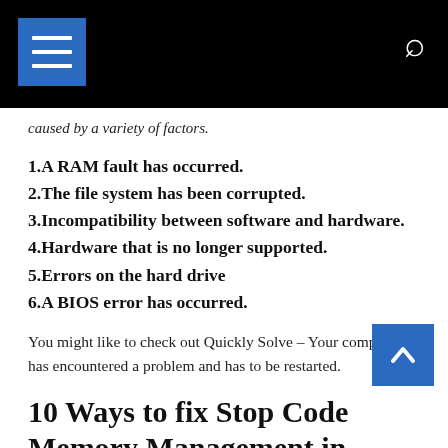[Navigation bar with menu and search icons]
caused by a variety of factors.
1.A RAM fault has occurred.
2.The file system has been corrupted.
3.Incompatibility between software and hardware.
4.Hardware that is no longer supported.
5.Errors on the hard drive
6.A BIOS error has occurred.
You might like to check out Quickly Solve – Your computer has encountered a problem and has to be restarted.
10 Ways to fix Stop Code Memory Management in Windows